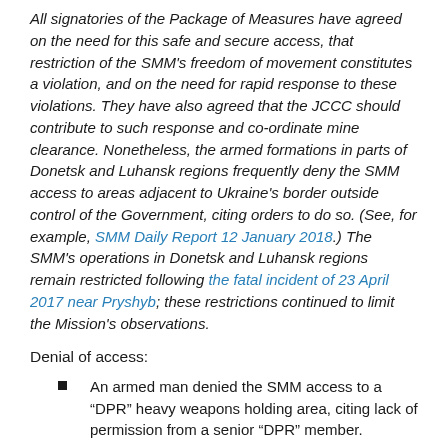All signatories of the Package of Measures have agreed on the need for this safe and secure access, that restriction of the SMM's freedom of movement constitutes a violation, and on the need for rapid response to these violations. They have also agreed that the JCCC should contribute to such response and co-ordinate mine clearance. Nonetheless, the armed formations in parts of Donetsk and Luhansk regions frequently deny the SMM access to areas adjacent to Ukraine's border outside control of the Government, citing orders to do so. (See, for example, SMM Daily Report 12 January 2018.) The SMM's operations in Donetsk and Luhansk regions remain restricted following the fatal incident of 23 April 2017 near Pryshyb; these restrictions continued to limit the Mission's observations.
Denial of access:
An armed man denied the SMM access to a “DPR” heavy weapons holding area, citing lack of permission from a senior “DPR” member.
A Ukrainian Armed Forces soldier at a checkpoint at